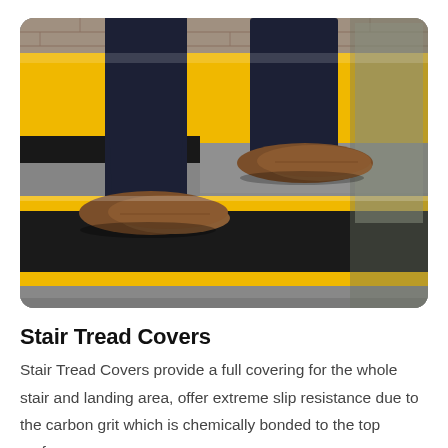[Figure (photo): A person wearing dark trousers and brown leather oxford shoes stepping on concrete stairs fitted with yellow-and-black anti-slip stair tread covers. The stair treads have a yellow nosing edge and a black carbon grit surface for slip resistance.]
Stair Tread Covers
Stair Tread Covers provide a full covering for the whole stair and landing area, offer extreme slip resistance due to the carbon grit which is chemically bonded to the top surface.